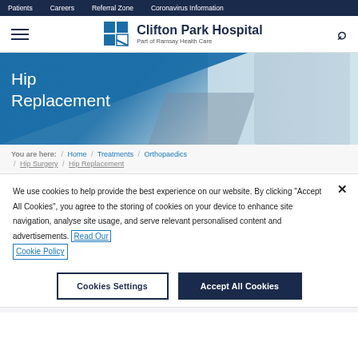Patients  Careers  Referral Zone  Coronavirus Information
[Figure (logo): Clifton Park Hospital logo with blue grid icon. Part of Ramsay Health Care.]
[Figure (photo): Hero banner showing a person holding their hip, with teal/blue overlay and text 'Hip Replacement']
Hip Replacement
You are here:  /  Home  /  Treatments  /  Orthopaedics  /  Hip Surgery  /  Hip Replacement
We use cookies to help provide the best experience on our website. By clicking "Accept All Cookies", you agree to the storing of cookies on your device to enhance site navigation, analyse site usage, and serve relevant personalised content and advertisements. Read Our Cookie Policy
Cookies Settings    Accept All Cookies